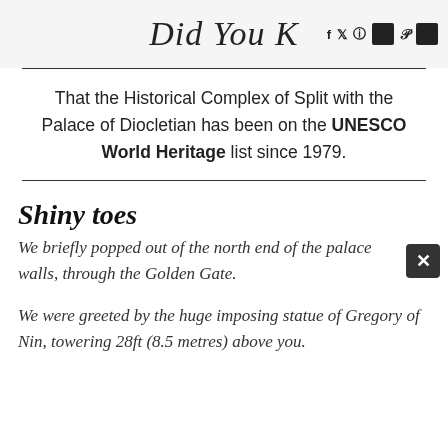Did You K… [social icons: f, Twitter, Instagram, YouTube, Pinterest, 5b]
That the Historical Complex of Split with the Palace of Diocletian has been on the UNESCO World Heritage list since 1979.
Shiny toes
We briefly popped out of the north end of the palace walls, through the Golden Gate.
We were greeted by the huge imposing statue of Gregory of Nin, towering 28ft (8.5 metres) above you.